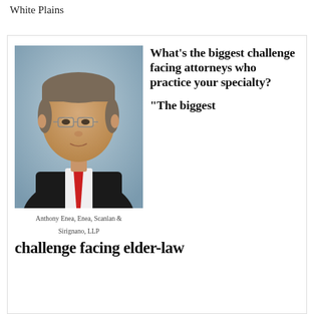White Plains
[Figure (photo): Headshot of Anthony Enea, a middle-aged man in a dark suit with a red tie and white shirt, wearing glasses, against a blue-grey background.]
Anthony Enea, Enea, Scanlan & Sirignano, LLP
What’s the biggest challenge facing attorneys who practice your specialty?
“The biggest challenge facing elder-law attorneys is that the federal and